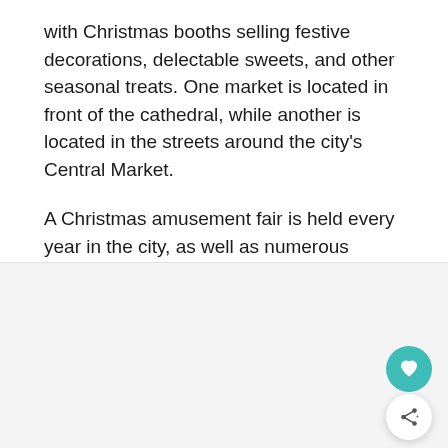with Christmas booths selling festive decorations, delectable sweets, and other seasonal treats. One market is located in front of the cathedral, while another is located in the streets around the city's Central Market.
A Christmas amusement fair is held every year in the city, as well as numerous unique holiday circuses. They're great places to get youngsters into the Christmas mood!
[Figure (photo): Light gray placeholder image area at bottom of page with a teal heart button and a white share button overlaid on the right side.]